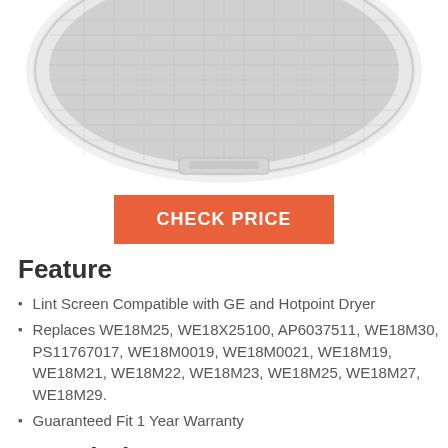[Figure (photo): A dryer lint screen/trap filter, white plastic frame with mesh screen, shown partially cropped from above on white background.]
CHECK PRICE
Feature
Lint Screen Compatible with GE and Hotpoint Dryer
Replaces WE18M25, WE18X25100, AP6037511, WE18M30, PS11767017, WE18M0019, WE18M0021, WE18M19, WE18M21, WE18M22, WE18M23, WE18M25, WE18M27, WE18M29.
Guaranteed Fit 1 Year Warranty
Description